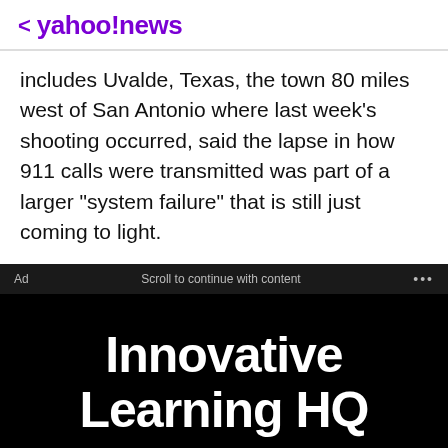< yahoo!news
includes Uvalde, Texas, the town 80 miles west of San Antonio where last week's shooting occurred, said the lapse in how 911 calls were transmitted was part of a larger "system failure" that is still just coming to light.
Ad   Scroll to continue with content   ...
[Figure (other): Advertisement for Innovative Learning HQ with white bold text on black background, with 'Get started' call to action at bottom.]